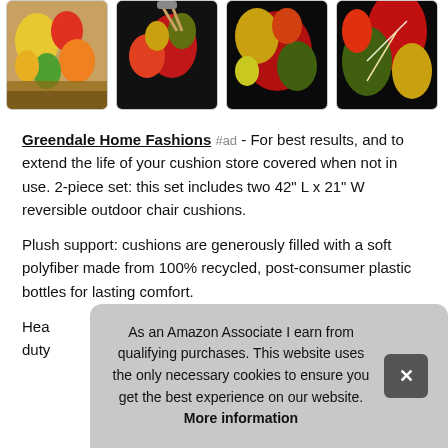[Figure (photo): Four product images of outdoor chair cushions with floral patterns on black and colorful backgrounds arranged in a horizontal row]
Greendale Home Fashions #ad - For best results, and to extend the life of your cushion store covered when not in use. 2-piece set: this set includes two 42" L x 21" W reversible outdoor chair cushions.
Plush support: cushions are generously filled with a soft polyfiber made from 100% recycled, post-consumer plastic bottles for lasting comfort.
As an Amazon Associate I earn from qualifying purchases. This website uses the only necessary cookies to ensure you get the best experience on our website. More information
Hea... duty...